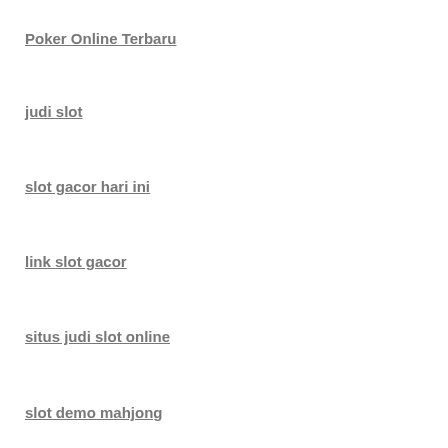Poker Online Terbaru
judi slot
slot gacor hari ini
link slot gacor
situs judi slot online
slot demo mahjong